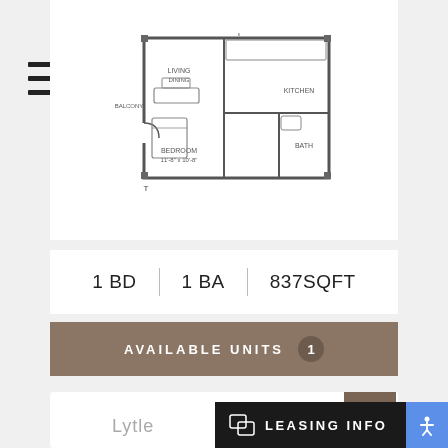[Figure (engineering-diagram): Apartment floor plan for a 1 bedroom, 1 bathroom, 837 sqft unit showing layout with living/dining area, kitchen, bedroom, and bath.]
1 BD | 1 BA | 837SQFT
AVAILABLE UNITS  1
[Figure (screenshot): Bottom card showing a search/zoom icon and partial floor plan image]
Lytle
LEASING INFO